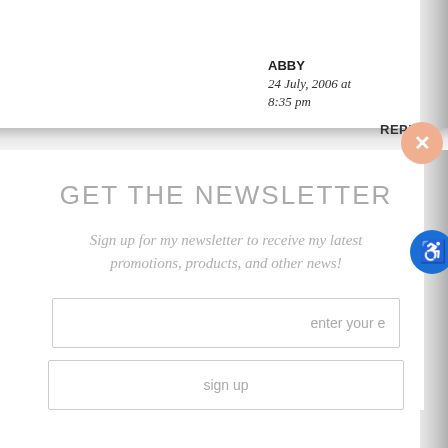ABBY
24 July, 2006 at 8:35 pm
REPLY
GET THE NEWSLETTER
Sign up for my newsletter to receive my latest promotions, products, and other news!
enter your e
sign up